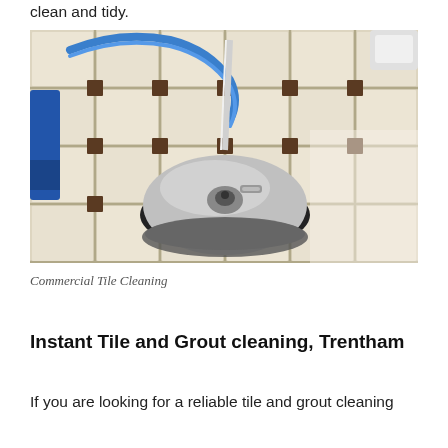clean and tidy.
[Figure (photo): A commercial tile cleaning machine (rotary floor scrubber with blue hose) being used on a white/cream tiled floor with dark grout lines and decorative dark tile insets.]
Commercial Tile Cleaning
Instant Tile and Grout cleaning, Trentham
If you are looking for a reliable tile and grout cleaning